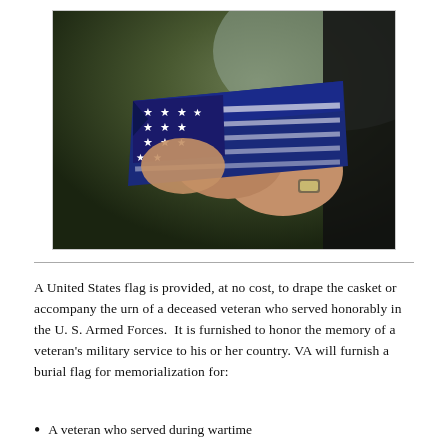[Figure (photo): Close-up photograph of a person in a dark suit holding a folded United States flag with white stars visible, on a blurred green outdoor background]
A United States flag is provided, at no cost, to drape the casket or accompany the urn of a deceased veteran who served honorably in the U. S. Armed Forces.  It is furnished to honor the memory of a veteran's military service to his or her country. VA will furnish a burial flag for memorialization for:
A veteran who served during wartime